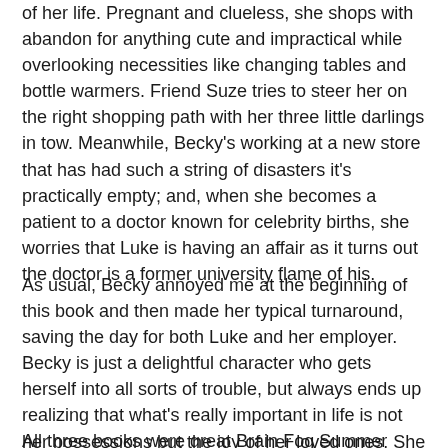of her life. Pregnant and clueless, she shops with abandon for anything cute and impractical while overlooking necessities like changing tables and bottle warmers. Friend Suze tries to steer her on the right shopping path with her three little darlings in tow. Meanwhile, Becky's working at a new store that has had such a string of disasters it's practically empty; and, when she becomes a patient to a doctor known for celebrity births, she worries that Luke is having an affair as it turns out the doctor is a former university flame of his.
As usual, Becky annoyed me at the beginning of this book and then made her typical turnaround, saving the day for both Luke and her employer. Becky is just a delightful character who gets herself into all sorts of trouble, but always ends up realizing that what's really important in life is not her possessions but the joy of her loved ones. She has a huge heart and Shopaholic & Baby ended up every bit as satisfying as the other books in the series (although I really thought I was on the verge of throwing the book at the wall, for a while, there).
All three books were great Brain Fog Summer Slump